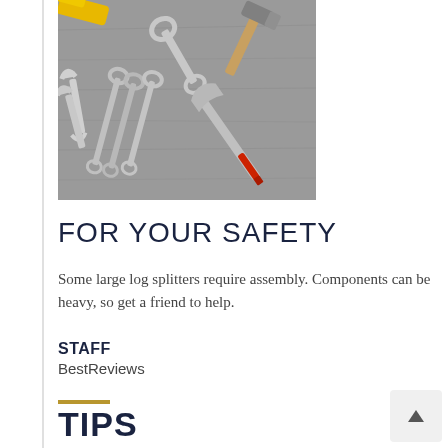[Figure (photo): Overhead photo of various hand tools including wrenches, spanners, a hammer, and an adjustable wrench arranged on a gray surface]
FOR YOUR SAFETY
Some large log splitters require assembly. Components can be heavy, so get a friend to help.
STAFF
BestReviews
TIPS